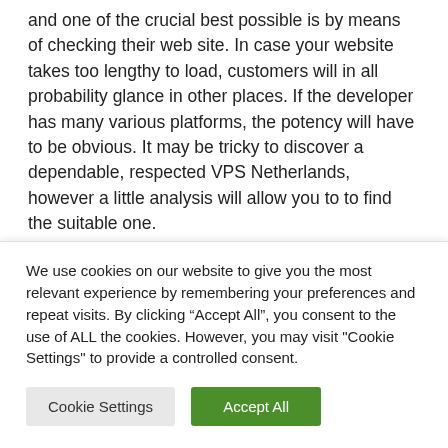and one of the crucial best possible is by means of checking their web site. In case your website takes too lengthy to load, customers will in all probability glance in other places. If the developer has many various platforms, the potency will have to be obvious. It may be tricky to discover a dependable, respected VPS Netherlands, however a little analysis will allow you to to find the suitable one.
In case your web site is primarily based within the
We use cookies on our website to give you the most relevant experience by remembering your preferences and repeat visits. By clicking “Accept All”, you consent to the use of ALL the cookies. However, you may visit "Cookie Settings" to provide a controlled consent.